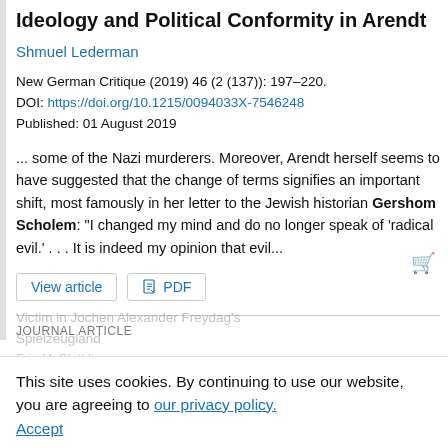Ideology and Political Conformity in Arendt
Shmuel Lederman
New German Critique (2019) 46 (2 (137)): 197–220. DOI: https://doi.org/10.1215/0094033X-7546248 Published: 01 August 2019
... some of the Nazi murderers. Moreover, Arendt herself seems to have suggested that the change of terms signifies an important shift, most famously in her letter to the Jewish historian Gershom Scholem: "I changed my mind and do no longer speak of 'radical evil.' . . . It is indeed my opinion that evil...
JOURNAL ARTICLE
This site uses cookies. By continuing to use our website, you are agreeing to our privacy policy. Accept